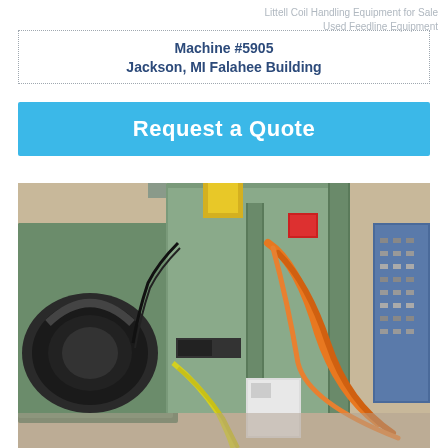Littell Coil Handling Equipment for Sale
Used Feedline Equipment
Machine #5905
Jackson, MI Falahee Building
Request a Quote
[Figure (photo): Industrial coil handling / feedline machine equipment in a factory setting — green painted heavy machinery with hoses, cables, electrical panels, and control boxes visible]